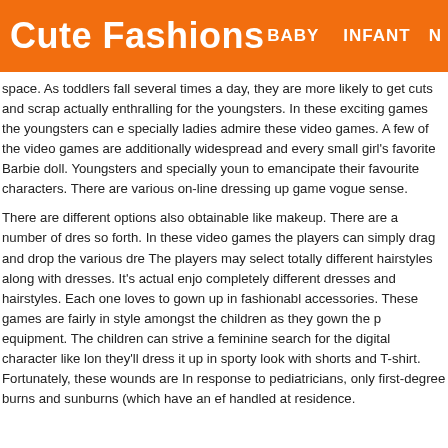Cute Fashions   BABY   INFANT   N
space. As toddlers fall several times a day, they are more likely to get cuts and scrap actually enthralling for the youngsters. In these exciting games the youngsters can e specially ladies admire these video games. A few of the video games are additionally widespread and every small girl's favorite Barbie doll. Youngsters and specially youn to emancipate their favourite characters. There are various on-line dressing up game vogue sense.
There are different options also obtainable like makeup. There are a number of dres so forth. In these video games the players can simply drag and drop the various dre The players may select totally different hairstyles along with dresses. It's actual enjo completely different dresses and hairstyles. Each one loves to gown up in fashionabl accessories. These games are fairly in style amongst the children as they gown the p equipment. The children can strive a feminine search for the digital character like lon they'll dress it up in sporty look with shorts and T-shirt. Fortunately, these wounds are In response to pediatricians, only first-degree burns and sunburns (which have an ef handled at residence.